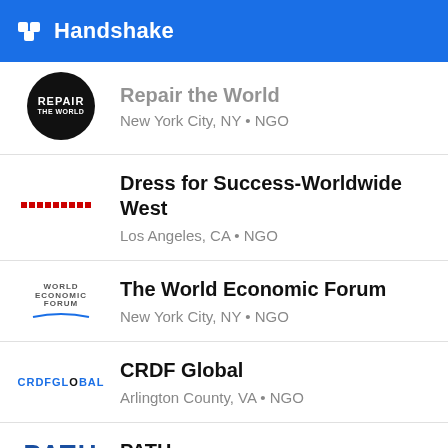Handshake
Repair the World
New York City, NY • NGO
Dress for Success-Worldwide West
Los Angeles, CA • NGO
The World Economic Forum
New York City, NY • NGO
CRDF Global
Arlington County, VA • NGO
PATH